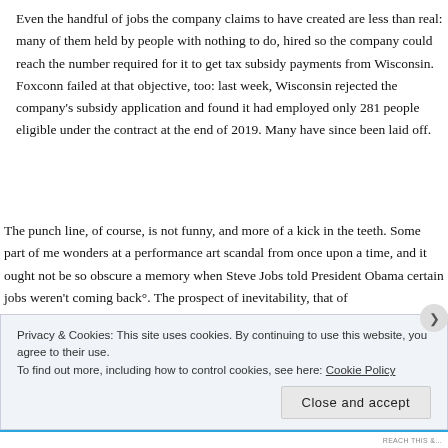Even the handful of jobs the company claims to have created are less than real: many of them held by people with nothing to do, hired so the company could reach the number required for it to get tax subsidy payments from Wisconsin. Foxconn failed at that objective, too: last week, Wisconsin rejected the company's subsidy application and found it had employed only 281 people eligible under the contract at the end of 2019. Many have since been laid off.
The punch line, of course, is not funny, and more of a kick in the teeth. Some part of me wonders at a performance art scandal from once upon a time, and it ought not be so obscure a memory when Steve Jobs told President Obama certain jobs weren't coming back°. The prospect of inevitability, that of
Privacy & Cookies: This site uses cookies. By continuing to use this website, you agree to their use.
To find out more, including how to control cookies, see here: Cookie Policy
Close and accept